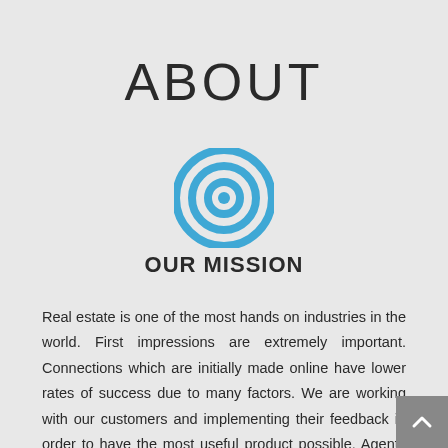ABOUT
[Figure (illustration): Concentric circles icon (target/bullseye) in blue color]
OUR MISSION
Real estate is one of the most hands on industries in the world. First impressions are extremely important. Connections which are initially made online have lower rates of success due to many factors. We are working with our customers and implementing their feedback in order to have the most useful product possible. Agents will be able to do everything required for their business directly from LeadSecure.